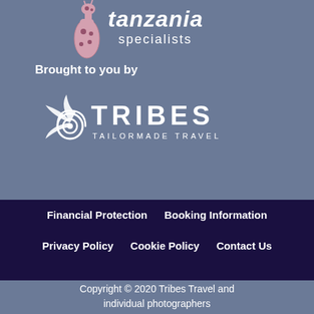[Figure (logo): Tanzania specialists logo with giraffe illustration and text 'tanzania specialists']
Brought to you by
[Figure (logo): Tribes Tailormade Travel logo - white text with spiral/sun icon]
Financial Protection   Booking Information   Privacy Policy   Cookie Policy   Contact Us
Copyright © 2020 Tribes Travel and individual photographers